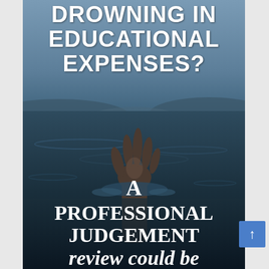[Figure (photo): A hand reaching up out of dark water, with a body of water and hills in the background under an overcast sky. Overlaid with text about drowning in educational expenses and a professional judgement review.]
DROWNING IN EDUCATIONAL EXPENSES?
A PROFESSIONAL JUDGEMENT review could be